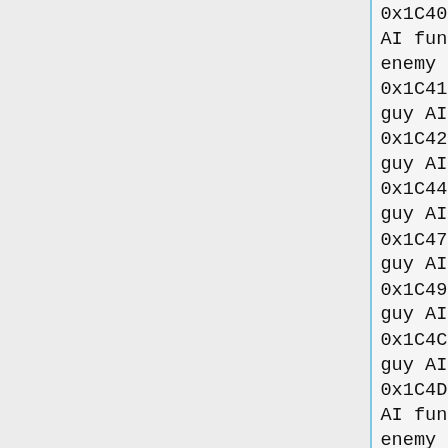0x1C400 to 0x1C411 = Enemy AI function pointers for enemy 4 (Knife guy)
0x1C412 to 0x1C42A = Knife guy AI stage 0
0x1C42B to 0x1C440 = Knife guy AI stage 1
0x1C441 to 0x1C475 = Knife guy AI stage 2
0x1C476 to 0x1C496 = Knife guy AI stage 3
0x1C497 to 0x1C4CD = Knife guy AI stage 4
0x1C4CE to 0x1C4DE = Knife guy AI stage 5
0x1C4DF to 0x1C4E4 = Enemy AI function pointers for enemy 5 (Soldier, crouch & gun)
0x1C4E5 to 0x1C500 = Soldier, crouch & gun AI stage 0
0x1C501 to 0x1C52C = Soldier, crouch & gun AI stage 1